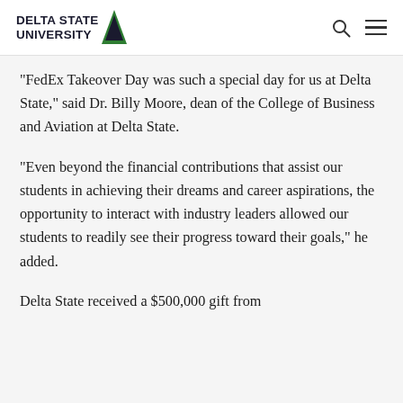DELTA STATE UNIVERSITY
“FedEx Takeover Day was such a special day for us at Delta State,” said Dr. Billy Moore, dean of the College of Business and Aviation at Delta State.
“Even beyond the financial contributions that assist our students in achieving their dreams and career aspirations, the opportunity to interact with industry leaders allowed our students to readily see their progress toward their goals,” he added.
Delta State received a $500,000 gift from